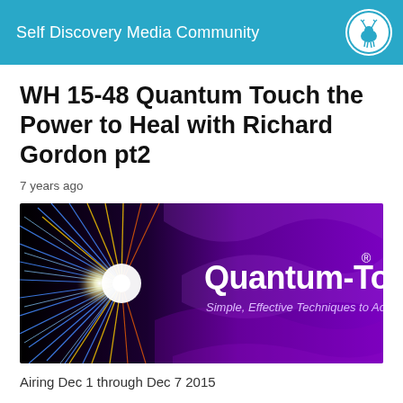Self Discovery Media Community
WH 15-48 Quantum Touch the Power to Heal with Richard Gordon pt2
7 years ago
[Figure (illustration): Quantum-Touch promotional banner image with black and purple background. Left side shows an explosive starburst of colorful light rays (blue, yellow, orange, white). Right side shows text 'Quantum-Touch®' in large white bold font and below it in italic 'Simple, Effective Techniques to Accelerate Healing'. Purple wave patterns in background.]
Airing Dec 1 through Dec 7 2015